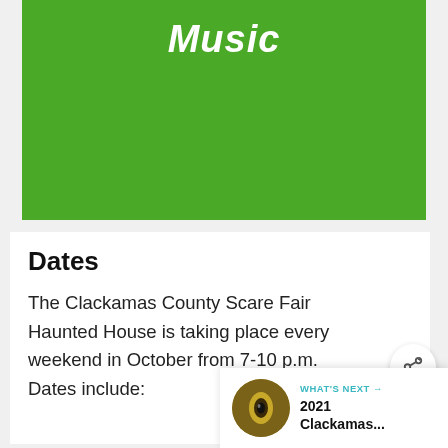[Figure (illustration): Green banner with the word 'Music' in bold white italic text]
Dates
The Clackamas County Scare Fair Haunted House is taking place every weekend in October from 7-10 p.m. Dates include:
[Figure (illustration): Floating teal heart (favorite) button icon]
[Figure (illustration): Floating white share button icon]
[Figure (illustration): What's Next panel at bottom right with thumbnail eye image and text: WHAT'S NEXT → 2021 Clackamas...]